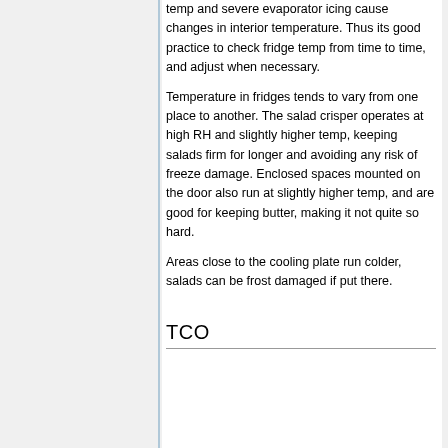temp and severe evaporator icing cause changes in interior temperature. Thus its good practice to check fridge temp from time to time, and adjust when necessary.
Temperature in fridges tends to vary from one place to another. The salad crisper operates at high RH and slightly higher temp, keeping salads firm for longer and avoiding any risk of freeze damage. Enclosed spaces mounted on the door also run at slightly higher temp, and are good for keeping butter, making it not quite so hard.
Areas close to the cooling plate run colder, salads can be frost damaged if put there.
TCO